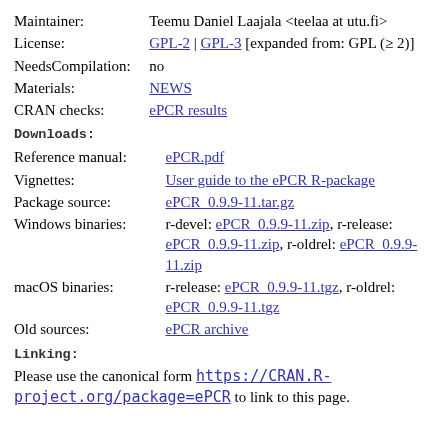| Maintainer: | Teemu Daniel Laajala <teelaa at utu.fi> |
| License: | GPL-2 | GPL-3 [expanded from: GPL (≥ 2)] |
| NeedsCompilation: | no |
| Materials: | NEWS |
| CRAN checks: | ePCR results |
Downloads:
| Reference manual: | ePCR.pdf |
| Vignettes: | User guide to the ePCR R-package |
| Package source: | ePCR_0.9.9-11.tar.gz |
| Windows binaries: | r-devel: ePCR_0.9.9-11.zip, r-release: ePCR_0.9.9-11.zip, r-oldrel: ePCR_0.9.9-11.zip |
| macOS binaries: | r-release: ePCR_0.9.9-11.tgz, r-oldrel: ePCR_0.9.9-11.tgz |
| Old sources: | ePCR archive |
Linking:
Please use the canonical form https://CRAN.R-project.org/package=ePCR to link to this page.